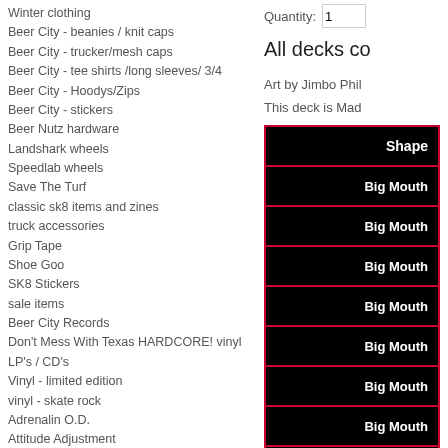Winter clothing
Beer City - beanies / knit caps
Beer City - trucker/mesh caps
Beer City - tee shirts /long sleeves/ 3/4
Beer City - Hoodys/Zips
Beer City - stickers
Beer Nutz hardware
Landshark wheels
Speedlab wheels
Save The Turf
classic sk8 items and zines
truck accessories
Grip Tape
Shoe Goo
SK8 Stickers
sale items
Beer City Records
Don't Mess With Texas HARDCORE! vinyl LP's / CD's
Vinyl - limited edition
vinyl - skate rock
Adrenalin O.D.
Attitude Adjustment
The Boneless Ones
Brass Tacks
BRONxxx
Cancerous Growth
D.R.I.
Deathwish
Die Kreuzen
Faction
Fastplants
Loud Ones
Quantity: 1
All decks co
Art by Jimbo Phil
This deck is Mad
| Shape |
| --- |
| Big Mouth |
| Big Mouth |
| Big Mouth |
| Big Mouth |
| Big Mouth |
| Big Mouth |
| Big Mouth |
| Big Mouth |